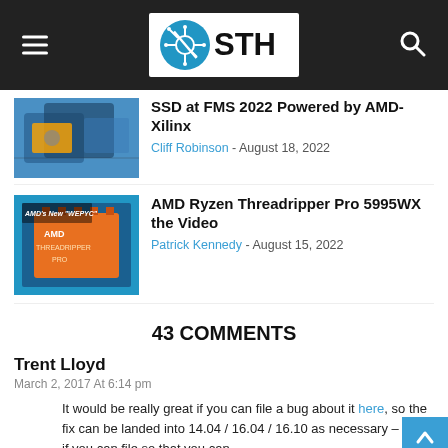STH - ServeTheHome
SSD at FMS 2022 Powered by AMD-Xilinx
Cliff Robinson - August 18, 2022
AMD Ryzen Threadripper Pro 5995WX the Video
Patrick Kennedy - August 15, 2022
43 COMMENTS
Trent Lloyd
March 2, 2017 At 6:14 pm
It would be really great if you can file a bug about it here, so the fix can be landed into 14.04 / 16.04 / 16.10 as necessary – best if you can file so that you can